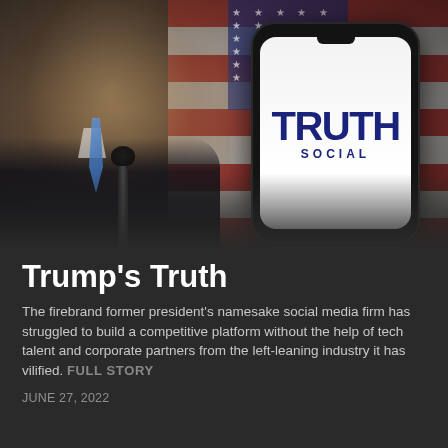[Figure (photo): A blurred photo of a man in a dark suit with a blue tie standing at a microphone with an American flag in the background on the left. On the right is a smartphone with a white screen displaying the Truth Social logo in dark navy blue text — 'TRUTH' in large bold letters and 'SOCIAL' in smaller spaced letters below.]
Trump's Truth
The firebrand former president's namesake social media firm has struggled to build a competitive platform without the help of tech talent and corporate partners from the left-leaning industry it has vilified. FULL STORY
JUNE 27, 2022